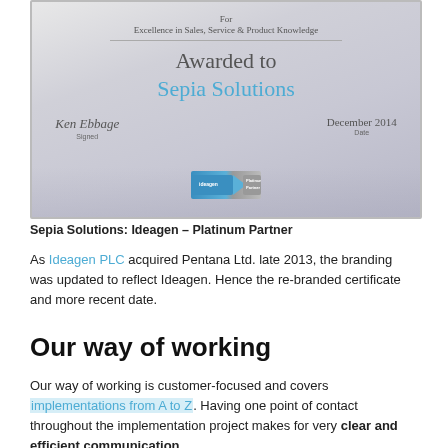[Figure (photo): Certificate image: 'For Excellence in Sales, Service & Product Knowledge', Awarded to Sepia Solutions, signed by Ken Ebbage, dated December 2014, with Ideagen Platinum Partner badge]
Sepia Solutions: Ideagen – Platinum Partner
As Ideagen PLC acquired Pentana Ltd. late 2013, the branding was updated to reflect Ideagen. Hence the re-branded certificate and more recent date.
Our way of working
Our way of working is customer-focused and covers implementations from A to Z. Having one point of contact throughout the implementation project makes for very clear and efficient communication.